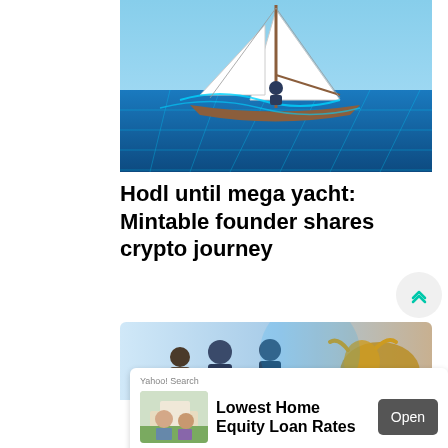[Figure (illustration): Illustration of a sailboat on a stylized blockchain/crypto ocean with glowing blue geometric wave patterns, white sails, digital art style]
Hodl until mega yacht: Mintable founder shares crypto journey
[Figure (illustration): Illustration of financial characters including bull and traders in a digital/crypto themed setting]
[Figure (other): Yahoo! Search advertisement for Lowest Home Equity Loan Rates with Open button and thumbnail of a couple in front of a house]